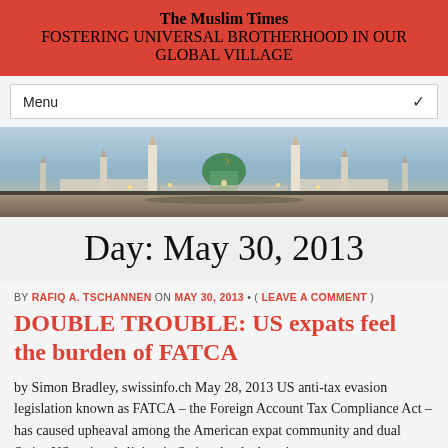The Muslim Times
FOSTERING UNIVERSAL BROTHERHOOD IN OUR GLOBAL VILLAGE
Menu
[Figure (photo): Panoramic photograph of a mosque (Al-Masjid an-Nabawi / similar), showing minarets, green dome, and large courtyard with pilgrims, at dusk/night.]
Day: May 30, 2013
BY RAFIQ A. TSCHANNEN ON MAY 30, 2013 • ( LEAVE A COMMENT )
DOUBLE TROUBLE: US expats feel the burden of FATCA
by Simon Bradley, swissinfo.ch May 28, 2013 US anti-tax evasion legislation known as FATCA – the Foreign Account Tax Compliance Act – has caused upheaval among the American expat community and dual Swiss-US nationals living in Switzerland where it was